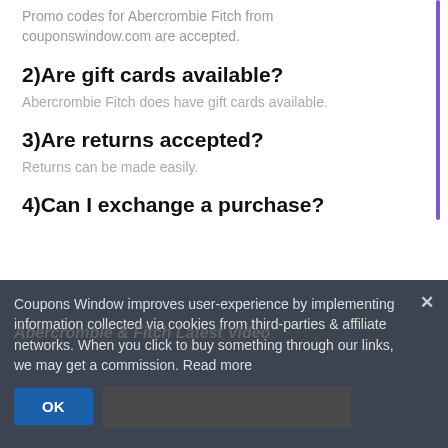Promo codes for Abercrombie Fitch from couponswindow.com are accepted.
2)Are gift cards available?
Abercrombie Fitch does have gift cards available.
3)Are returns accepted?
Returns can be made easily.
4)Can I exchange a purchase?
Coupons Window improves user-experience by implementing information collected via cookies from third-parties & affiliate networks. When you click to buy something through our links, we may get a commission. Read more
OK